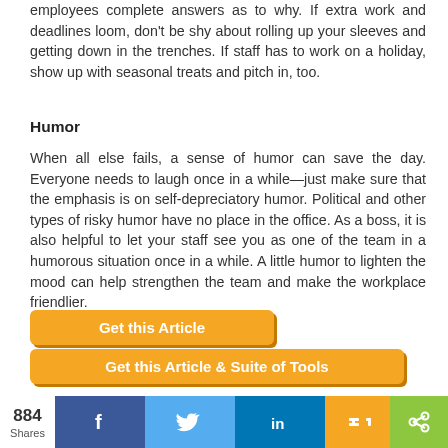employees complete answers as to why. If extra work and deadlines loom, don't be shy about rolling up your sleeves and getting down in the trenches. If staff has to work on a holiday, show up with seasonal treats and pitch in, too.
Humor
When all else fails, a sense of humor can save the day. Everyone needs to laugh once in a while—just make sure that the emphasis is on self-depreciatory humor. Political and other types of risky humor have no place in the office. As a boss, it is also helpful to let your staff see you as one of the team in a humorous situation once in a while. A little humor to lighten the mood can help strengthen the team and make the workplace friendlier.
[Figure (other): Orange button labeled 'Get this Article']
[Figure (other): Orange button labeled 'Get this Article & Suite of Tools']
[Figure (other): Social sharing bar with 884 Shares, Facebook, Twitter, LinkedIn, Google+, and share icons]